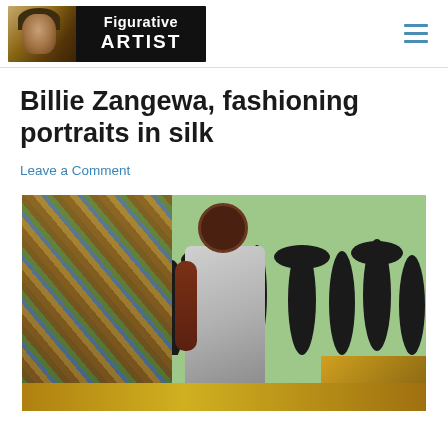[Figure (logo): Figurative Artist website banner logo with a painted portrait on the left and bold text 'Figurative ARTIST' on dark background on the right]
[Figure (other): Hamburger menu icon with three horizontal blue lines]
Billie Zangewa, fashioning portraits in silk
Leave a Comment
[Figure (photo): A textile/silk artwork by Billie Zangewa showing a figure standing next to a car with dark cactus silhouettes in the background on a green fabric background]